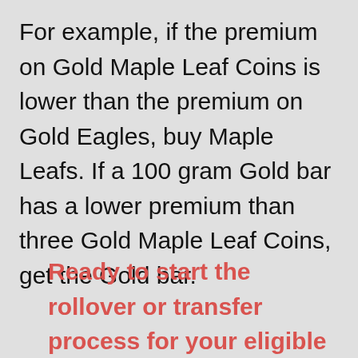For example, if the premium on Gold Maple Leaf Coins is lower than the premium on Gold Eagles, buy Maple Leafs. If a 100 gram Gold bar has a lower premium than three Gold Maple Leaf Coins, get the Gold bar.
Ready to start the rollover or transfer process for your eligible 401k? CLICK HERE and grab your FREE